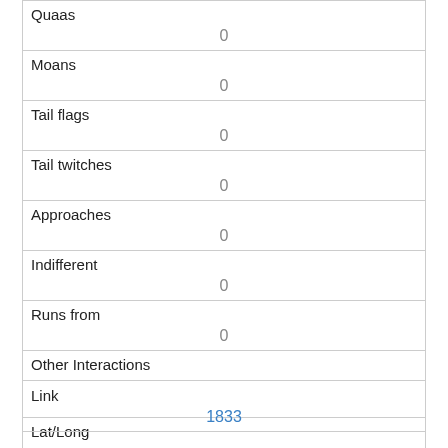| Quaas | 0 |
| Moans | 0 |
| Tail flags | 0 |
| Tail twitches | 0 |
| Approaches | 0 |
| Indifferent | 0 |
| Runs from | 0 |
| Other Interactions |  |
| Lat/Long | POINT (-73.9736995552241 40.7722712518637) |
| Link | 1833 |